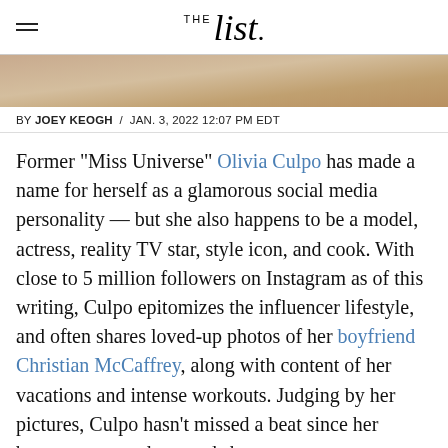THE list
[Figure (photo): Partial photo of a person, cropped — only top of head/hair visible as a strip]
BY JOEY KEOGH / JAN. 3, 2022 12:07 PM EDT
Former "Miss Universe" Olivia Culpo has made a name for herself as a glamorous social media personality — but she also happens to be a model, actress, reality TV star, style icon, and cook. With close to 5 million followers on Instagram as of this writing, Culpo epitomizes the influencer lifestyle, and often shares loved-up photos of her boyfriend Christian McCaffrey, along with content of her vacations and intense workouts. Judging by her pictures, Culpo hasn't missed a beat since her beauty pageant days, and she